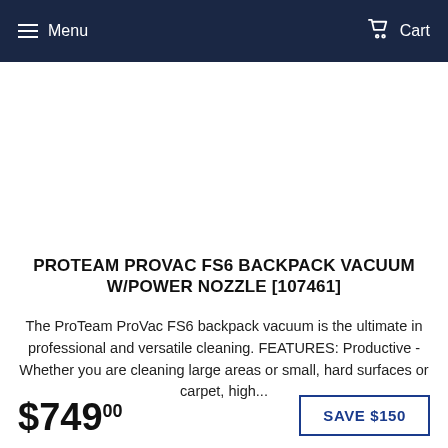Menu  Cart
[Figure (photo): Product image area (white/blank space where product photo would appear)]
PROTEAM PROVAC FS6 BACKPACK VACUUM W/POWER NOZZLE [107461]
The ProTeam ProVac FS6 backpack vacuum is the ultimate in professional and versatile cleaning. FEATURES: Productive - Whether you are cleaning large areas or small, hard surfaces or carpet, high...
$74900  SAVE $150